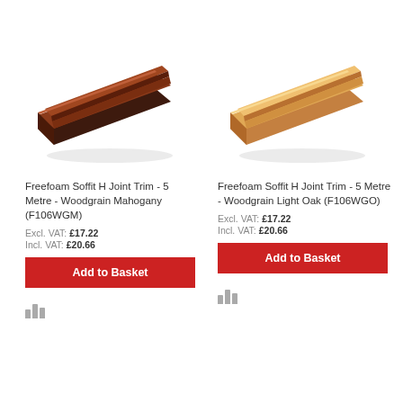[Figure (photo): Freefoam Soffit H Joint Trim in Woodgrain Mahogany colour - dark brown H-profile trim piece shown at angle]
[Figure (photo): Freefoam Soffit H Joint Trim in Woodgrain Light Oak colour - light tan H-profile trim piece shown at angle]
Freefoam Soffit H Joint Trim - 5 Metre - Woodgrain Mahogany (F106WGM)
Freefoam Soffit H Joint Trim - 5 Metre - Woodgrain Light Oak (F106WGO)
Excl. VAT: £17.22
Incl. VAT: £20.66
Excl. VAT: £17.22
Incl. VAT: £20.66